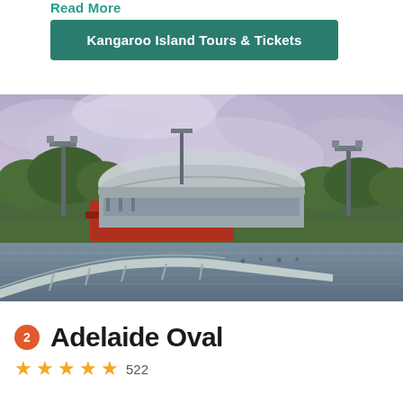Read More
Kangaroo Island Tours & Tickets
[Figure (photo): Panoramic view of Adelaide Oval stadium with a curved pedestrian bridge in the foreground over a river, surrounded by trees under a cloudy sky.]
2 Adelaide Oval
★★★★☆ 522